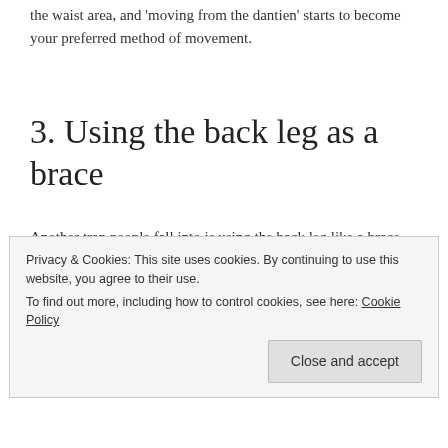the waist area, and 'moving from the dantien' starts to become your preferred method of movement.
3. Using the back leg as a brace
Another trap people fall into is using the back leg like a brace, held stiff against the ground. Again, this leads to muscle-lin...
Privacy & Cookies: This site uses cookies. By continuing to use this website, you agree to their use.
To find out more, including how to control cookies, see here: Cookie Policy
Close and accept